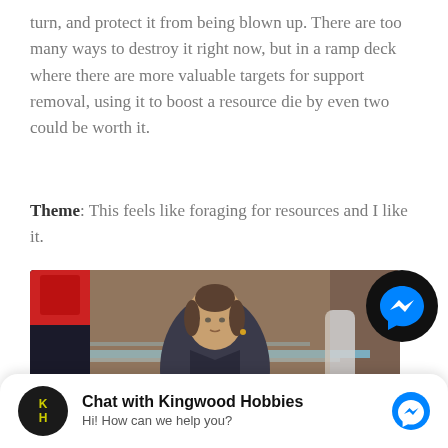turn, and protect it from being blown up. There are too many ways to destroy it right now, but in a ramp deck where there are more valuable targets for support removal, using it to boost a resource die by even two could be worth it.
Theme: This feels like foraging for resources and I like it.
[Figure (photo): A Star Wars trading card image showing a character (Leia Organa) in a grey uniform with a game piece token showing '4' and a crosshair symbol in the lower left corner.]
Chat with Kingwood Hobbies
Hi! How can we help you?